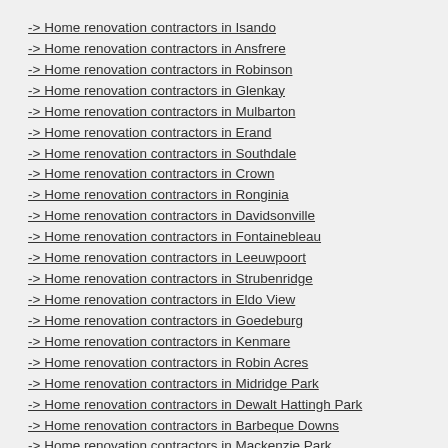-> Home renovation contractors in Isando
-> Home renovation contractors in Ansfrere
-> Home renovation contractors in Robinson
-> Home renovation contractors in Glenkay
-> Home renovation contractors in Mulbarton
-> Home renovation contractors in Erand
-> Home renovation contractors in Southdale
-> Home renovation contractors in Crown
-> Home renovation contractors in Ronginia
-> Home renovation contractors in Davidsonville
-> Home renovation contractors in Fontainebleau
-> Home renovation contractors in Leeuwpoort
-> Home renovation contractors in Strubenridge
-> Home renovation contractors in Eldo View
-> Home renovation contractors in Goedeburg
-> Home renovation contractors in Kenmare
-> Home renovation contractors in Robin Acres
-> Home renovation contractors in Midridge Park
-> Home renovation contractors in Dewalt Hattingh Park
-> Home renovation contractors in Barbeque Downs
-> Home renovation contractors in Mackenzie Park
-> Home renovation contractors in Alberante
-> Home renovation contractors in Kya Sands
-> Home renovation contractors in Quellerina